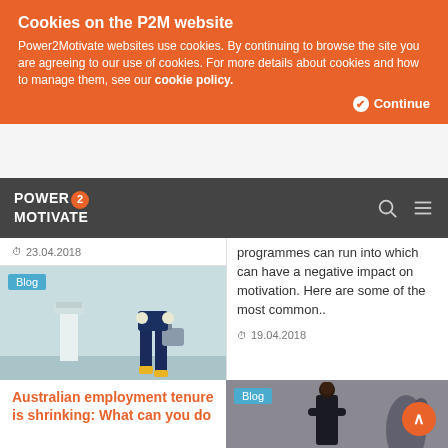Cookies on the P2M website
Power2Motivate websites use cookies. By continuing to browse the site you are agreeing to our use of cookies. For more details about cookies and how to manage them, see our cookie policy.
Continue
POWER 2 MOTIVATE
23.04.2018
[Figure (photo): Person walking with luggage near airport control tower]
programmes can run into which can have a negative impact on motivation. Here are some of the most common..
19.04.2018
Australian employment tenure is shrinking: What can you do
[Figure (photo): Woman in suit standing with arms crossed, shadow on wall behind]